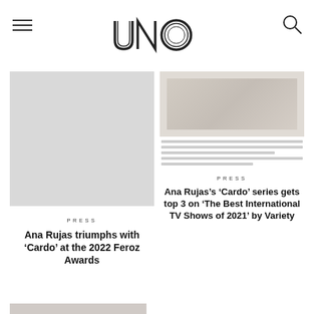UNO
[Figure (photo): Gray placeholder image for article]
PRESS
Ana Rujas triumphs with 'Cardo' at the 2022 Feroz Awards
[Figure (photo): Thumbnail image for Ana Rujas Cardo series article]
PRESS
Ana Rujas's 'Cardo' series gets top 3 on 'The Best International TV Shows of 2021' by Variety